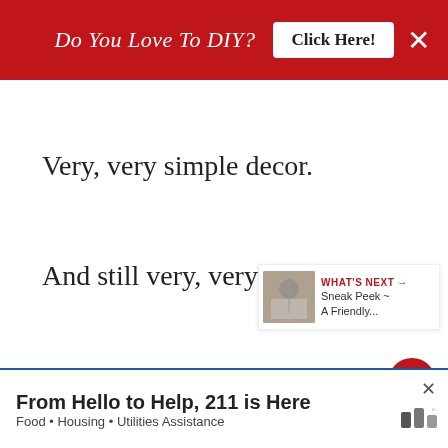Do You Love To DIY? Click Here! ×
Very, very simple decor.
And still very, very fall.
I guess I'll have to get used it, huh?
How do you decorate?
Hey ~ now it's time to hop! Next stop is
[Figure (screenshot): What's Next panel showing a thumbnail image and text 'Sneak Peek ~ A Friendly...' with a red arrow label 'WHAT'S NEXT →']
From Hello to Help, 211 is Here
Food • Housing • Utilities Assistance